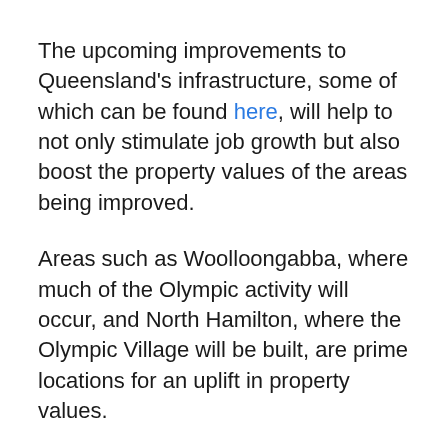The upcoming improvements to Queensland's infrastructure, some of which can be found here, will help to not only stimulate job growth but also boost the property values of the areas being improved.
Areas such as Woolloongabba, where much of the Olympic activity will occur, and North Hamilton, where the Olympic Village will be built, are prime locations for an uplift in property values.
This is because there is a positive correlation between improved infrastructure and jobs growth and rising property values, as CoreLogic's Asia-Pacific Research Director Tim [continues]